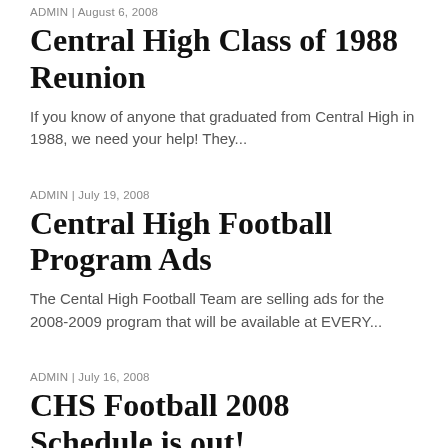ADMIN | August 6, 2008
Central High Class of 1988 Reunion
If you know of anyone that graduated from Central High in 1988, we need your help! They...
ADMIN | July 19, 2008
Central High Football Program Ads
The Cental High Football Team are selling ads for the 2008-2009 program that will be available at EVERY...
ADMIN | July 16, 2008
CHS Football 2008 Schedule is out!